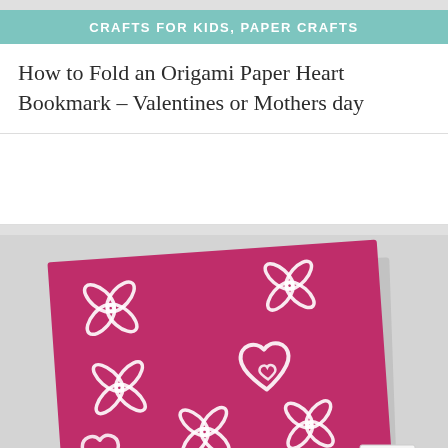CRAFTS FOR KIDS, PAPER CRAFTS
How to Fold an Origami Paper Heart Bookmark – Valentines or Mothers day
[Figure (photo): A magenta/pink paper card decorated with white painted flower and heart motifs, lying on a light gray surface, with small black and white items partially visible at the bottom right corner]